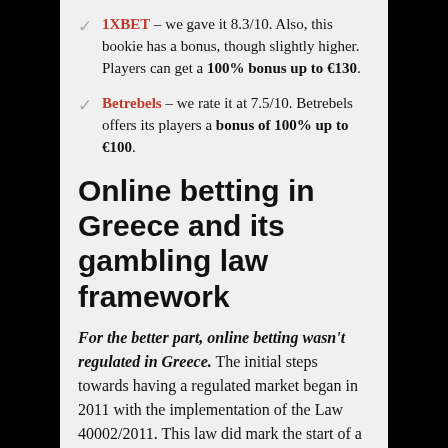1XBET – we gave it 8.3/10. Also, this bookie has a bonus, though slightly higher. Players can get a 100% bonus up to €130.
Betrebels – we rate it at 7.5/10. Betrebels offers its players a bonus of 100% up to €100.
Online betting in Greece and its gambling law framework
For the better part, online betting wasn't regulated in Greece. The initial steps towards having a regulated market began in 2011 with the implementation of the Law 40002/2011. This law did mark the start of a